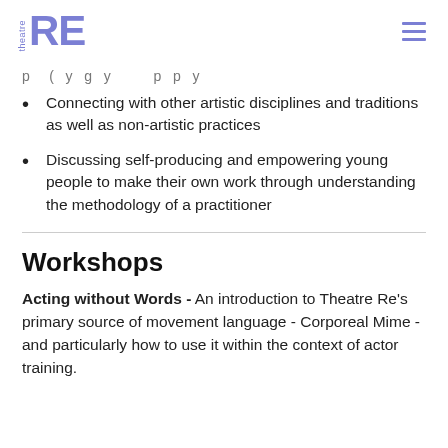theatre RE
Connecting with other artistic disciplines and traditions as well as non-artistic practices
Discussing self-producing and empowering young people to make their own work through understanding the methodology of a practitioner
Workshops
Acting without Words - An introduction to Theatre Re's primary source of movement language - Corporeal Mime - and particularly how to use it within the context of actor training.